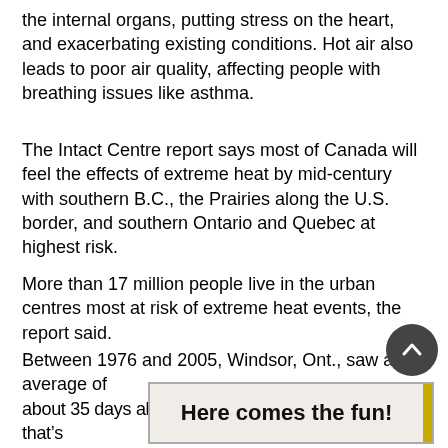the internal organs, putting stress on the heart, and exacerbating existing conditions. Hot air also leads to poor air quality, affecting people with breathing issues like asthma.
The Intact Centre report says most of Canada will feel the effects of extreme heat by mid-century with southern B.C., the Prairies along the U.S. border, and southern Ontario and Quebec at highest risk.
More than 17 million people live in the urban centres most at risk of extreme heat events, the report said.
Between 1976 and 2005, Windsor, Ont., saw an average of about 35 days above 30 C in a summer. By 2050 that’s
[Figure (other): Advertisement banner reading 'Here comes the fun!' with a yellow right border, overlaid on the page content]